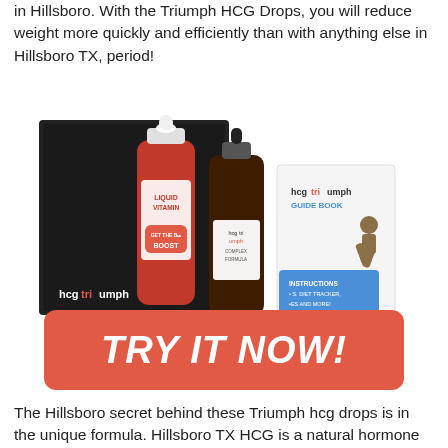in Hillsboro. With the Triumph HCG Drops, you will reduce weight more quickly and efficiently than with anything else in Hillsboro TX, period!
[Figure (photo): HCG Triumph product kit showing a black box with hcg triumph branding, a red liquid vitamin bottle, a dark glass dropper bottle labeled hcg triumph complex formula, a guide book, an instructions card with diet tracker, and a USB stick, all arranged together.]
TRY IT NOW!
The Hillsboro secret behind these Triumph hcg drops is in the unique formula. Hillsboro TX HCG is a natural hormone that lets your body in Hillsboro know that it needs to burn down